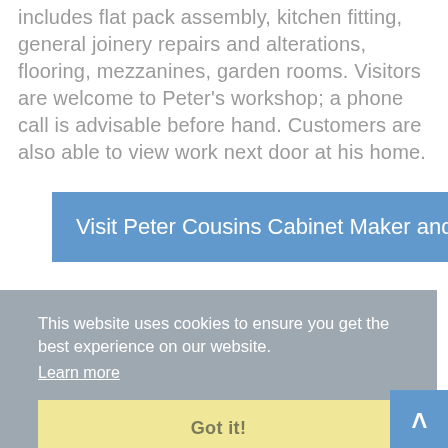includes flat pack assembly, kitchen fitting, general joinery repairs and alterations, flooring, mezzanines, garden rooms. Visitors are welcome to Peter's workshop; a phone call is advisable before hand. Customers are also able to view work next door at his home.
Visit Peter Cousins Cabinet Maker and Joiner W...
This website uses cookies to ensure you get the best experience on our website.
Learn more
Got it!